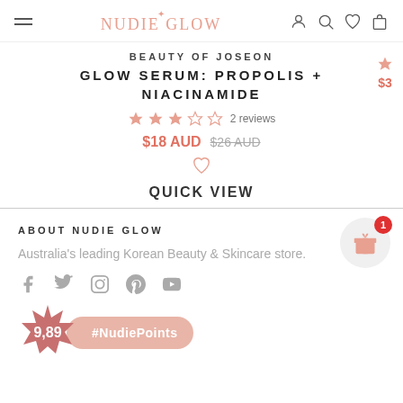Nudie Glow — navigation header with hamburger menu, logo, and icons
BEAUTY OF JOSEON
GLOW SERUM: PROPOLIS + NIACINAMIDE
2 reviews
$18 AUD  $26 AUD
QUICK VIEW
ABOUT NUDIE GLOW
Australia's leading Korean Beauty & Skincare store.
[Figure (other): Social media icons: Facebook, Twitter, Instagram, Pinterest, YouTube]
[Figure (other): Nudie Points badge showing '9,89' and '#NudiePoints' button, with gift icon notification badge showing '1']